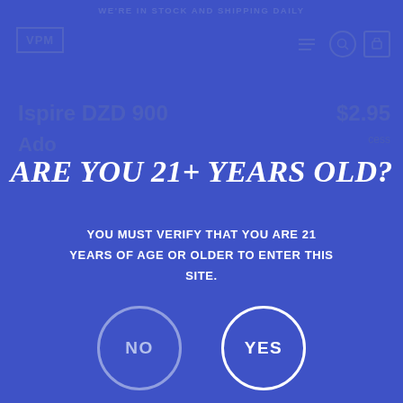WE'RE IN STOCK AND SHIPPING DAILY
[Figure (screenshot): Dimmed e-commerce website background showing VPM logo, navigation icons, product title 'Ispire DZD 900 Add...' and price '$2.95']
ARE YOU 21+ YEARS OLD?
YOU MUST VERIFY THAT YOU ARE 21 YEARS OF AGE OR OLDER TO ENTER THIS SITE.
[Figure (infographic): Two circular buttons: 'NO' (outlined, muted white) and 'YES' (outlined, bright white)]